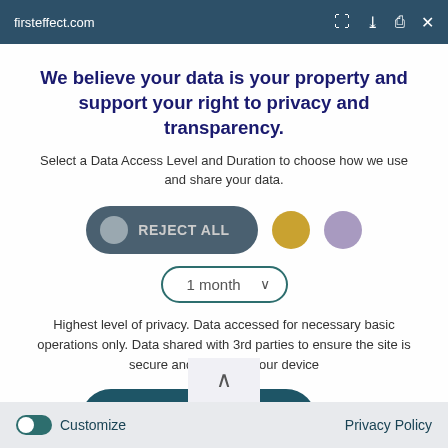firsteffect.com
We believe your data is your property and support your right to privacy and transparency.
Select a Data Access Level and Duration to choose how we use and share your data.
REJECT ALL
1 month
Highest level of privacy. Data accessed for necessary basic operations only. Data shared with 3rd parties to ensure the site is secure and works on your device
Save my preferences
Customize   Privacy Policy